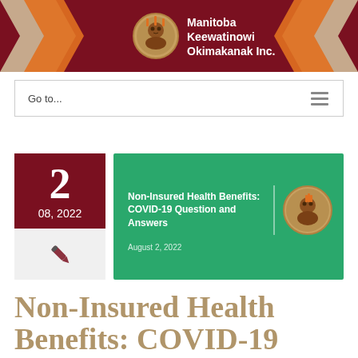[Figure (logo): Manitoba Keewatinowi Okimakanak Inc. header banner with dark red background, orange chevron arrows on sides, circular logo, and white bold text]
Go to...
[Figure (infographic): Article card with date block: day 2, 08, 2022 in dark red box, pen icon below. Green card showing 'Non-Insured Health Benefits: COVID-19 Question and Answers', August 2, 2022, with circular MKO logo]
Non-Insured Health Benefits: COVID-19